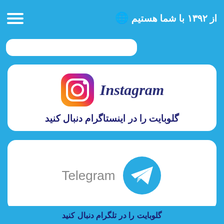از ۱۳۹۲ با شما هستیم
[Figure (illustration): Instagram logo (gradient square with camera icon) next to Instagram wordmark, inside a white rounded card with blue border. Persian text below: گلوبایت را در اینستاگرام دنبال کنید]
[Figure (illustration): Telegram logo (blue circle with white paper plane) next to Telegram wordmark, inside a white rounded card with blue border]
گلوبایت را در اینستاگرام دنبال کنید